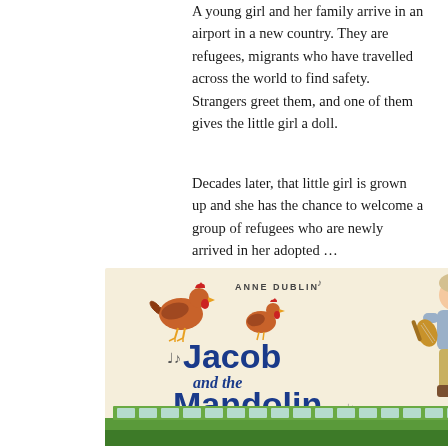A young girl and her family arrive in an airport in a new country. They are refugees, migrants who have travelled across the world to find safety. Strangers greet them, and one of them gives the little girl a doll.
Decades later, that little girl is grown up and she has the chance to welcome a group of refugees who are newly arrived in her adopted …
[Figure (illustration): Book cover of 'Jacob and the Mandolin Adventure' by Anne Dublin. Cream/beige background with two illustrated chickens (roosters) at the top, a boy holding a mandolin on the right side, musical notes scattered around, bold blue title text reading 'Jacob and the Mandolin Adventure', and a green bus/trolley at the bottom.]